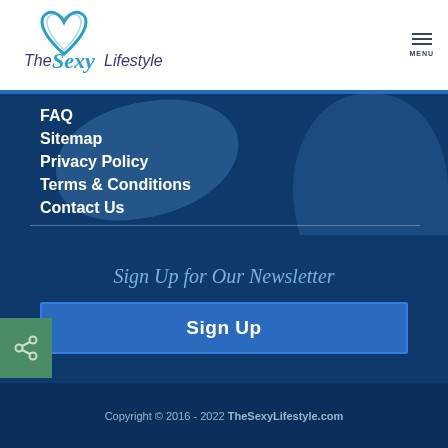[Figure (logo): The Sexy Lifestyle logo with heart shape and teal/blue script]
FAQ
Sitemap
Privacy Policy
Terms & Conditions
Contact Us
Sign Up for Our Newsletter
Sign Up
Copyright © 2016 - 2022 TheSexyLifestyle.com